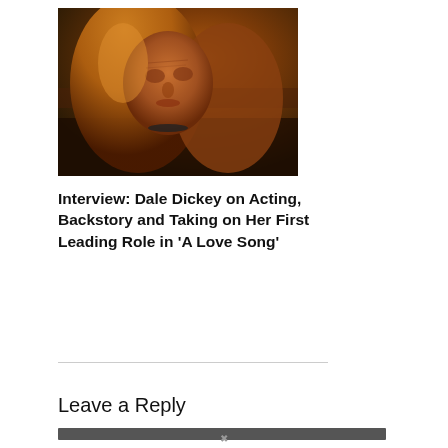[Figure (photo): Portrait photo of Dale Dickey, a woman with long reddish-blonde hair, looking upward, outdoors in warm golden light]
Interview: Dale Dickey on Acting, Backstory and Taking on Her First Leading Role in ‘A Love Song’
Leave a Reply